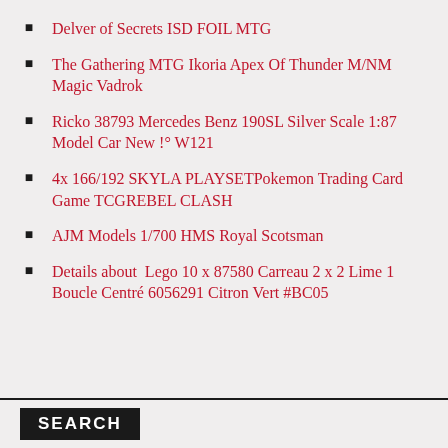Delver of Secrets ISD FOIL MTG
The Gathering MTG Ikoria Apex Of Thunder M/NM Magic Vadrok
Ricko 38793 Mercedes Benz 190SL Silver Scale 1:87 Model Car New !° W121
4x 166/192 SKYLA PLAYSETPokemon Trading Card Game TCGREBEL CLASH
AJM Models 1/700 HMS Royal Scotsman
Details about  Lego 10 x 87580 Carreau 2 x 2 Lime 1 Boucle Centré 6056291 Citron Vert #BC05
SEARCH